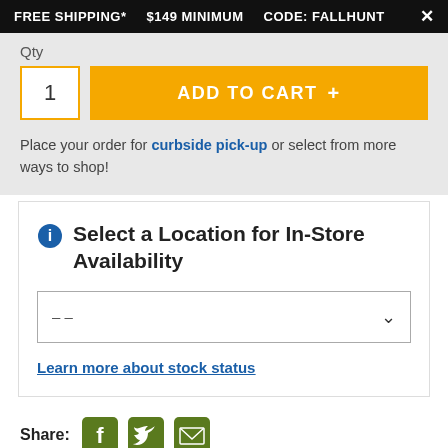FREE SHIPPING*  $149 MINIMUM  CODE: FALLHUNT
Qty
[Figure (screenshot): Add to Cart button with quantity box showing '1' and yellow ADD TO CART + button]
Place your order for curbside pick-up or select from more ways to shop!
Select a Location for In-Store Availability
-- (dropdown selector)
Learn more about stock status
Share:
Add to Wishlist